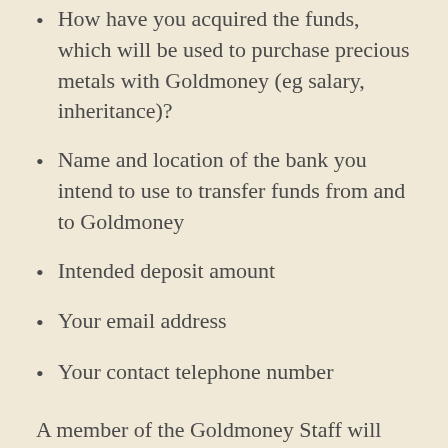How have you acquired the funds, which will be used to purchase precious metals with Goldmoney (eg salary, inheritance)?
Name and location of the bank you intend to use to transfer funds from and to Goldmoney
Intended deposit amount
Your email address
Your contact telephone number
A member of the Goldmoney Staff will then review your application to determine if we can offer you a Goldmoney Holding.